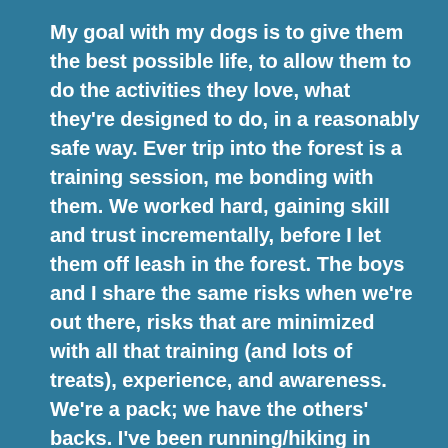My goal with my dogs is to give them the best possible life, to allow them to do the activities they love, what they're designed to do, in a reasonably safe way. Ever trip into the forest is a training session, me bonding with them. We worked hard, gaining skill and trust incrementally, before I let them off leash in the forest. The boys and I share the same risks when we're out there, risks that are minimized with all that training (and lots of treats), experience, and awareness. We're a pack; we have the others' backs. I've been running/hiking in forests with my dogs off leash since 1990 without incident. Well, except for skunk encounters.
Honestly, in our current pack, I'm the weakest link. I'm the one who trips and falls, gets scrapes and